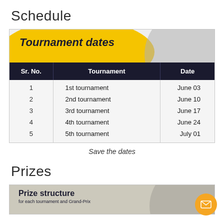Schedule
| Sr. No. | Tournament | Date |
| --- | --- | --- |
| 1 | 1st tournament | June 03 |
| 2 | 2nd tournament | June 10 |
| 3 | 3rd tournament | June 17 |
| 4 | 4th tournament | June 24 |
| 5 | 5th tournament | July 01 |
Save the dates
Prizes
[Figure (infographic): Prize structure box with title 'Prize structure for each tournament and Grand-Prix' on grey background with circle decoration]